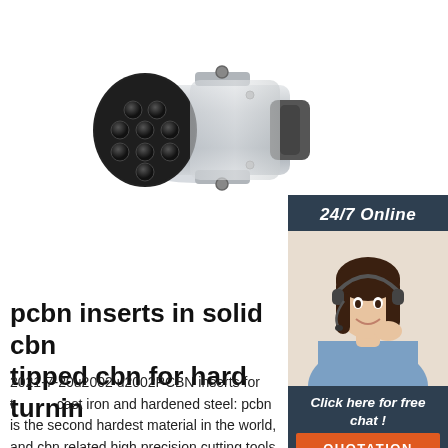[Figure (photo): A cylindrical metallic electrical connector with multiple black socket holes on the front face, mounted on a bracket, photographed on white background]
[Figure (photo): Customer service agent sidebar: dark blue background with '24/7 Online' label in italic, photo of a smiling woman with headset, 'Click here for free chat!' text, and an orange QUOTATION button]
pcbn inserts in solid cbn tipped cbn for hard turning
2021-7-20u2002·u2002PCBN inserts for turning cast iron and hardened steel: pcbn is the second hardest material in the world, and cbn related high precision cutting tools are introduced to industry, achieved high productivity and cost reductions. pcbn is the short name of polycrystalline cubic boron nitride, and pcbn inserts are mainly for the hard metal turning